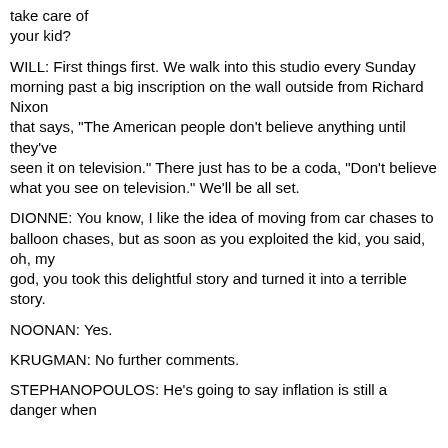take care of your kid?
WILL: First things first. We walk into this studio every Sunday morning past a big inscription on the wall outside from Richard Nixon that says, "The American people don't believe anything until they've seen it on television." There just has to be a coda, "Don't believe what you see on television." We'll be all set.
DIONNE: You know, I like the idea of moving from car chases to balloon chases, but as soon as you exploited the kid, you said, oh, my god, you took this delightful story and turned it into a terrible story.
NOONAN: Yes.
KRUGMAN: No further comments.
STEPHANOPOULOS: He's going to say inflation is still a danger when